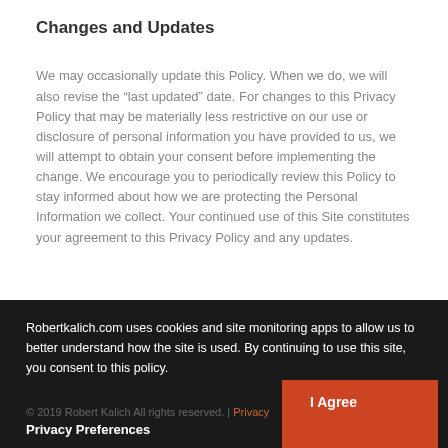Changes and Updates
We may occasionally update this Policy. When we do, we will also revise the “last updated” date. For changes to this Privacy Policy that may be materially less restrictive on our use or disclosure of personal information you have provided to us, we will attempt to obtain your consent before implementing the change. We encourage you to periodically review this Policy to stay informed about how we are protecting the Personal Information we collect. Your continued use of this Site constitutes your agreement to this Privacy Policy and any updates.
Robertkalich.com uses cookies and site monitoring apps to allow us to better understand how the site is used. By continuing to use this site, you consent to this policy.
© 2019 Robert Kalich All rights reserved. | Privacy Preferences  I Agree